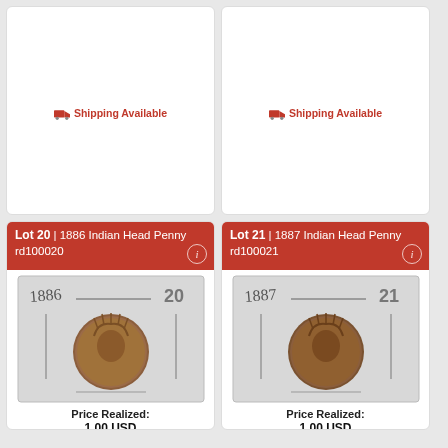🚚 Shipping Available
🚚 Shipping Available
Lot 20 | 1886 Indian Head Penny rd100020
[Figure (photo): Photo of 1886 Indian Head Penny in a holder labeled '1886' and '20']
Price Realized: 1.00 USD
🚚 Shipping Available
Lot 21 | 1887 Indian Head Penny rd100021
[Figure (photo): Photo of 1887 Indian Head Penny in a holder labeled '1887' and '21']
Price Realized: 1.00 USD
🚚 Shipping Available